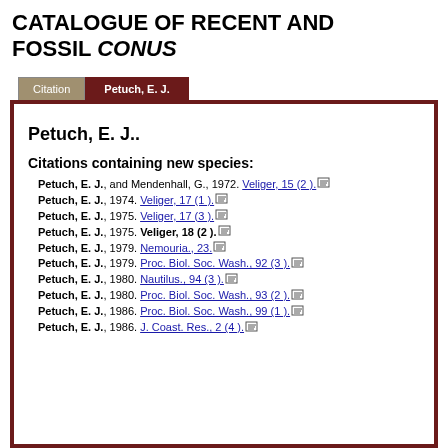CATALOGUE OF RECENT AND FOSSIL CONUS
Petuch, E. J.
Petuch, E. J..
Citations containing new species:
Petuch, E. J., and Mendenhall, G., 1972. Veliger, 15 (2 ).
Petuch, E. J., 1974. Veliger, 17 (1 ).
Petuch, E. J., 1975. Veliger, 17 (3 ).
Petuch, E. J., 1975. Veliger, 18 (2 ).
Petuch, E. J., 1979. Nemouria., 23.
Petuch, E. J., 1979. Proc. Biol. Soc. Wash., 92 (3 ).
Petuch, E. J., 1980. Nautilus., 94 (3 ).
Petuch, E. J., 1980. Proc. Biol. Soc. Wash., 93 (2 ).
Petuch, E. J., 1986. Proc. Biol. Soc. Wash., 99 (1 ).
Petuch, E. J., 1986. J. Coast. Res., 2 (4 ).